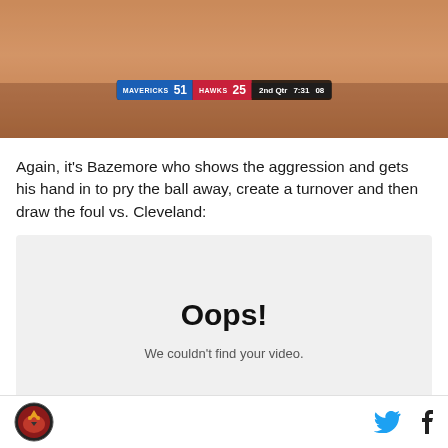[Figure (screenshot): Basketball game screenshot showing scoreboard: MAVERICKS 51, HAWKS 25, 2nd Qtr, 7:31, 08]
Again, it's Bazemore who shows the aggression and gets his hand in to pry the ball away, create a turnover and then draw the foul vs. Cleveland:
[Figure (screenshot): Video player error state showing 'Oops! We couldn't find your video.']
Logo | Twitter icon | Facebook icon